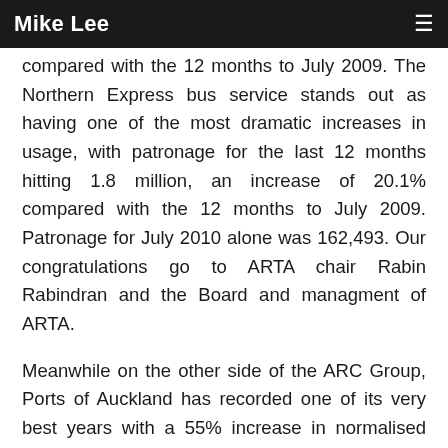Mike Lee
compared with the 12 months to July 2009. The Northern Express bus service stands out as having one of the most dramatic increases in usage, with patronage for the last 12 months hitting 1.8 million, an increase of 20.1% compared with the 12 months to July 2009. Patronage for July 2010 alone was 162,493. Our congratulations go to ARTA chair Rabin Rabindran and the Board and managment of ARTA.
Meanwhile on the other side of the ARC Group, Ports of Auckland has recorded one of its very best years with a 55% increase in normalised after-tax profit of $24.4m in the financial year 30 June 2010. However taking into account various one-off factors, the port company's net after-tax profit rose year-on-year from $5.4m to $37.2 million. Credit must be given to the Ports Board but also to the leadership of Cr. Judith Bassett and the board of